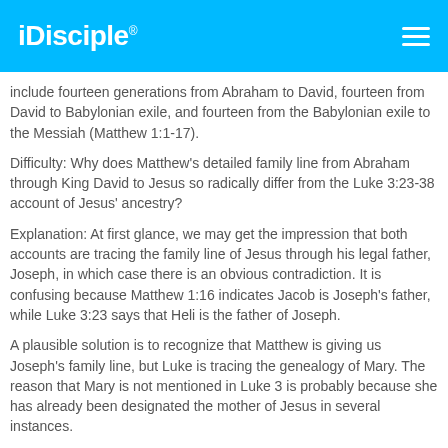iDisciple
include fourteen generations from Abraham to David, fourteen from David to Babylonian exile, and fourteen from the Babylonian exile to the Messiah (Matthew 1:1-17).
Difficulty: Why does Matthew's detailed family line from Abraham through King David to Jesus so radically differ from the Luke 3:23-38 account of Jesus' ancestry?
Explanation: At first glance, we may get the impression that both accounts are tracing the family line of Jesus through his legal father, Joseph, in which case there is an obvious contradiction. It is confusing because Matthew 1:16 indicates Jacob is Joseph's father, while Luke 3:23 says that Heli is the father of Joseph.
A plausible solution is to recognize that Matthew is giving us Joseph's family line, but Luke is tracing the genealogy of Mary. The reason that Mary is not mentioned in Luke 3 is probably because she has already been designated the mother of Jesus in several instances.